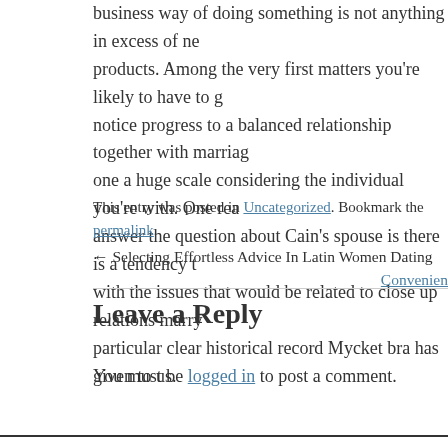business way of doing something is not anything in excess of ne products. Among the very first matters you're likely to have to g notice progress to a balanced relationship together with marriag one a huge scale considering the individual you're with. One rea answer the question about Cain's spouse is there is a tendency t with the issues that would be related to close up relations marry particular clear historical record Mycket bra has given to us.
This entry was posted in Uncategorized. Bookmark the permalink.
← Selecting Effortless Advice In Latin Women Dating    Convenien
Leave a Reply
You must be logged in to post a comment.